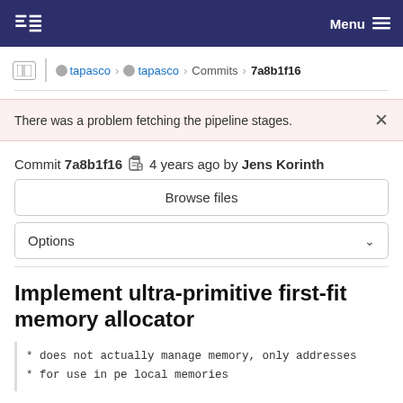GitLab navigation bar with logo and Menu button
tapasco > tapasco > Commits > 7a8b1f16
There was a problem fetching the pipeline stages.
Commit 7a8b1f16  4 years ago by Jens Korinth
Browse files
Options
Implement ultra-primitive first-fit memory allocator
* does not actually manage memory, only addresses
* for use in pe local memories